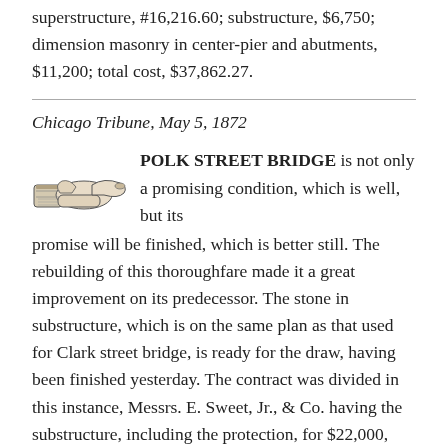superstructure, #16,216.60; substructure, $6,750; dimension masonry in center-pier and abutments, $11,200; total cost, $37,862.27.
Chicago Tribune, May 5, 1872
POLK STREET BRIDGE is not only a promising condition, which is well, but its promise will be finished, which is better still. The rebuilding of this thoroughfare made it a great improvement on its predecessor. The stone in substructure, which is on the same plan as that used for Clark street bridge, is ready for the draw, having been finished yesterday. The contract was divided in this instance, Messrs. E. Sweet, Jr., & Co. having the substructure, including the protection, for $22,000, while the King Iron Bridge Company receive $12,600